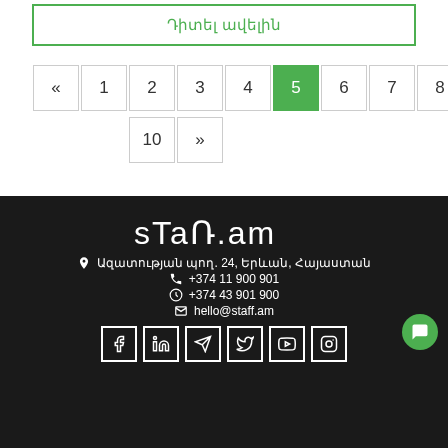Դիտել ավելին
« 1 2 3 4 5 6 7 8 9 10 »
[Figure (logo): staff.am logo in white text on dark background]
Ազատության պող. 24, Երևան, Հայաստան
+374 11 900 901
+374 43 901 900
+374 43 901 900
hello@staff.am
[Figure (infographic): Social media icon buttons: Facebook, LinkedIn, Telegram, Twitter, YouTube, Instagram, and a green chat button]